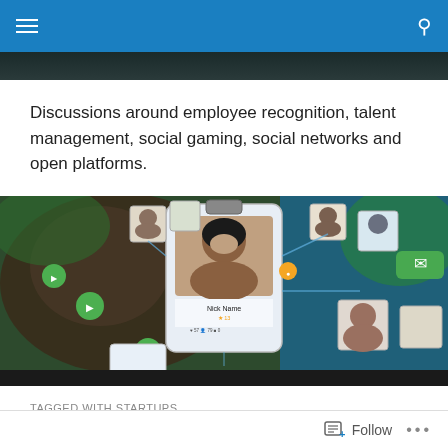Navigation bar with hamburger menu and search icon
Discussions around employee recognition, talent management, social gaming, social networks and open platforms.
[Figure (photo): Hero banner image showing a social network profile interface with person photos connected by lines, overlaid on a blurred background of people. Shows a profile card for 'Nick Name' with stats.]
TAGGED WITH STARTUPS
Internal versus External Scale
Follow ...